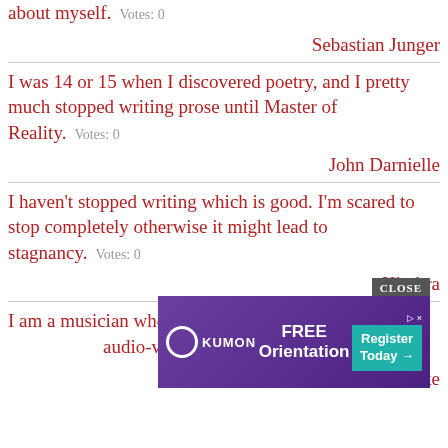about myself.   Votes: 0
Sebastian Junger
I was 14 or 15 when I discovered poetry, and I pretty much stopped writing prose until Master of Reality.   Votes: 0
John Darnielle
I haven't stopped writing which is good. I'm scared to stop completely otherwise it might lead to stagnancy.   Votes: 0
Kimbra
I am a musician who stopped working with music... audio-visual music.   Votes: 0
Kurt Ralske
[Figure (screenshot): Kumon FREE Orientation advertisement banner with close button overlay]